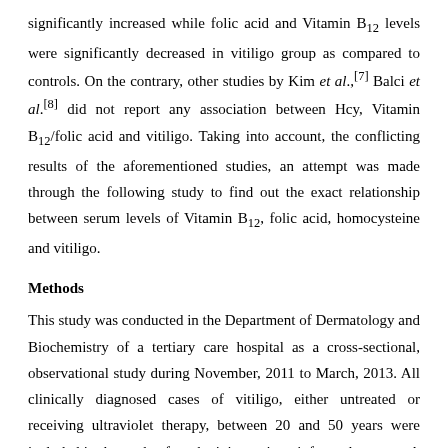significantly increased while folic acid and Vitamin B12 levels were significantly decreased in vitiligo group as compared to controls. On the contrary, other studies by Kim et al.,[7] Balci et al.[8] did not report any association between Hcy, Vitamin B12/folic acid and vitiligo. Taking into account, the conflicting results of the aforementioned studies, an attempt was made through the following study to find out the exact relationship between serum levels of Vitamin B12, folic acid, homocysteine and vitiligo.
Methods
This study was conducted in the Department of Dermatology and Biochemistry of a tertiary care hospital as a cross-sectional, observational study during November, 2011 to March, 2013. All clinically diagnosed cases of vitiligo, either untreated or receiving ultraviolet therapy, between 20 and 50 years were included in the study after obtaining written informed consent. A total of 50 cases and 35 age and sex matched healthy controls from the attendants of the study population were recruited in the study. Those who had a history of cigarette smoking; intake of folic acid, Vitamin B6, B12, and hormonal therapy; evidence of any autoimmune disease (thyroid disorder/anemia/diabetes mellitus); diseases known to affect the